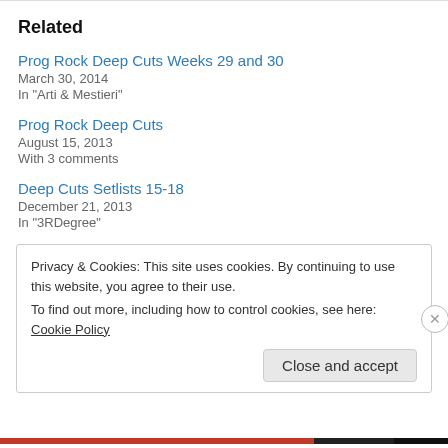Related
Prog Rock Deep Cuts Weeks 29 and 30
March 30, 2014
In "Arti & Mestieri"
Prog Rock Deep Cuts
August 15, 2013
With 3 comments
Deep Cuts Setlists 15-18
December 21, 2013
In "3RDegree"
Privacy & Cookies: This site uses cookies. By continuing to use this website, you agree to their use.
To find out more, including how to control cookies, see here: Cookie Policy